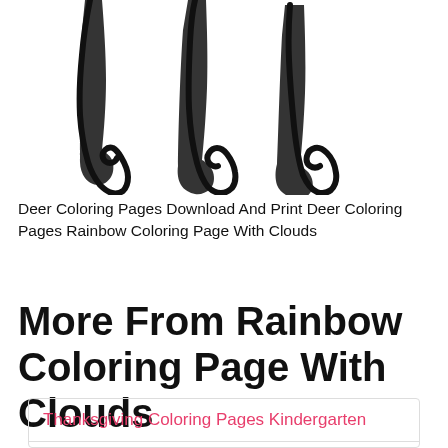[Figure (illustration): Black and white line drawing of deer legs/hooves from below, showing four legs with hooves on a white background — part of a deer coloring page illustration.]
Deer Coloring Pages Download And Print Deer Coloring Pages Rainbow Coloring Page With Clouds
More From Rainbow Coloring Page With Clouds
Thanksgiving Coloring Pages Kindergarten
Coloring Pictures Of Rapunzel
Disney Coloring Pages Pdf free